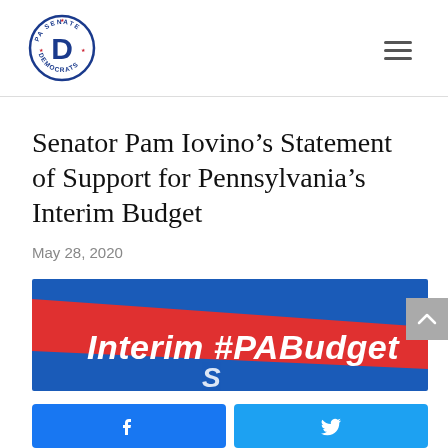[Figure (logo): PA Senate Democrats circular logo with letter D in center]
Senator Pam Iovino’s Statement of Support for Pennsylvania’s Interim Budget
May 28, 2020
[Figure (photo): Banner graphic with blue background and red diagonal band reading 'Interim #PABudget' in white italic text]